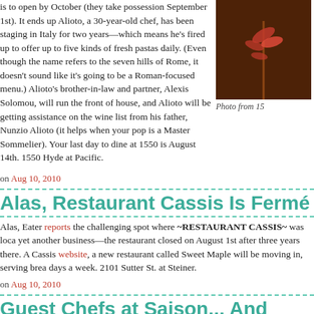is to open by October (they take possession September 1st). It ends up Alioto, a 30-year-old chef, has been staging in Italy for two years—which means he's fired up to offer up to five kinds of fresh pastas daily. (Even though the name refers to the seven hills of Rome, it doesn't sound like it's going to be a Roman-focused menu.) Alioto's brother-in-law and partner, Alexis Solomou, will run the front of house, and Alioto will be getting assistance on the wine list from his father, Nunzio Alioto (it helps when your pop is a Master Sommelier). Your last day to dine at 1550 is August 14th. 1550 Hyde at Pacific.
[Figure (photo): Dark warm-toned photo, appears to show interior restaurant scene]
Photo from 15
on Aug 10, 2010
Alas, Restaurant Cassis Is Fermé
Alas, Eater reports the challenging spot where ~RESTAURANT CASSIS~ was loca yet another business—the restaurant closed on August 1st after three years there. A Cassis website, a new restaurant called Sweet Maple will be moving in, serving brea days a week. 2101 Sutter St. at Steiner.
on Aug 10, 2010
Guest Chefs at Saison... And Pal's Takea
The next couple months will include some guest chef appearances at both $$$$ and $ establishments. Over
[Figure (photo): Green leafy plant photo]